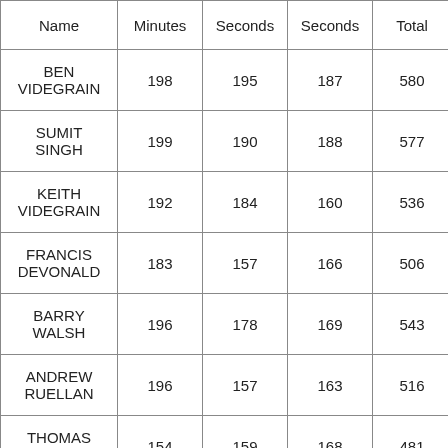| Name | Minutes | Seconds | Seconds | Total | X |
| --- | --- | --- | --- | --- | --- |
| BEN VIDEGRAIN | 198 | 195 | 187 | 580 | 28 |
| SUMIT SINGH | 199 | 190 | 188 | 577 | 18 |
| KEITH VIDEGRAIN | 192 | 184 | 160 | 536 | 12 |
| FRANCIS DEVONALD | 183 | 157 | 166 | 506 |  |
| BARRY WALSH | 196 | 178 | 169 | 543 |  |
| ANDREW RUELLAN | 196 | 157 | 163 | 516 | 12 |
| THOMAS MENARD | 154 | 159 | 168 | 481 |  |